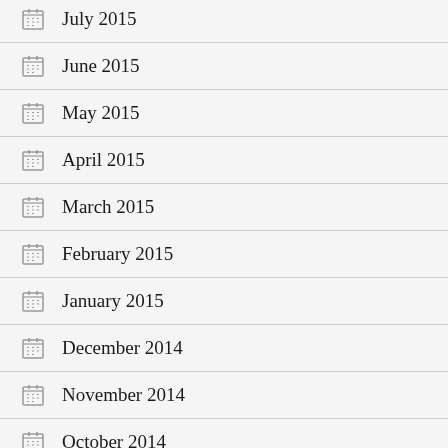July 2015
June 2015
May 2015
April 2015
March 2015
February 2015
January 2015
December 2014
November 2014
October 2014